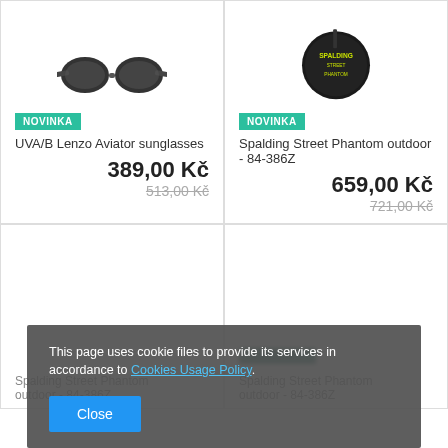[Figure (photo): Partial top view of dark aviator sunglasses product image]
[Figure (photo): Partial top view of Spalding Street Phantom outdoor basketball with yellow text on dark packaging]
NOVINKA
UVA/B Lenzo Aviator sunglasses
389,00 Kč
513,00 Kč
NOVINKA
Spalding Street Phantom outdoor - 84-386Z
659,00 Kč
721,00 Kč
This page uses cookie files to provide its services in accordance to Cookies Usage Policy.
Close
Spalding Street Phantom outdoor - 84-386Z
Spalding Street Phantom outdoor - 84-386Z